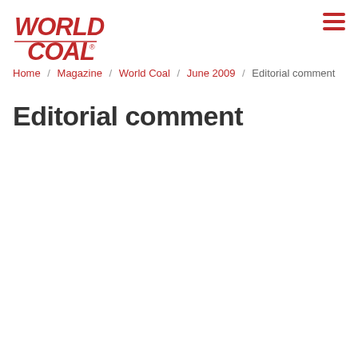World Coal
Home / Magazine / World Coal / June 2009 / Editorial comment
Editorial comment